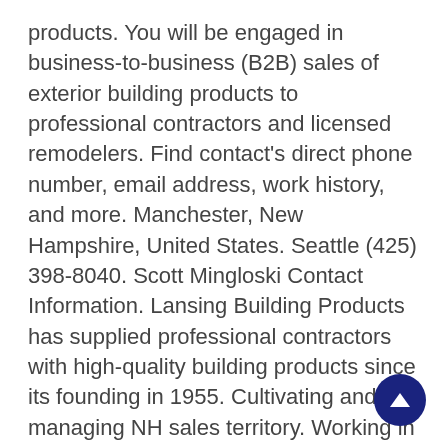products. You will be engaged in business-to-business (B2B) sales of exterior building products to professional contractors and licensed remodelers. Find contact's direct phone number, email address, work history, and more. Manchester, New Hampshire, United States. Seattle (425) 398-8040. Scott Mingloski Contact Information. Lansing Building Products has supplied professional contractors with high-quality building products since its founding in 1955. Cultivating and managing NH sales territory. Working in Lansing Building Products as Outside Sales in Illinois, United States Employee of the month good teamwork. With the 2020 acquisition of Harvey Building [...] Hours: M-F, 7:30am - 4:30pm. Indeed.com estimated this salary based on data from 4 employees, users and past and present job ads. Led by third generation President & CEO Hunter Lansing, we remain true to the family values and mission of Respect, Service and Excellence in everything we do. What do you think? Lansing Building Products has supplied professional contractors with high-quality building products since its founding in 1955.